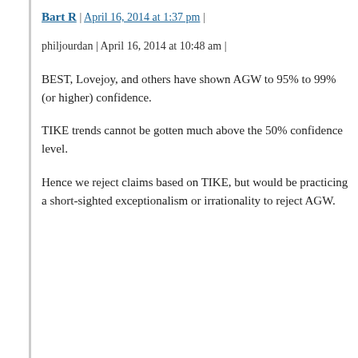Bart R | April 16, 2014 at 1:37 pm |
philjourdan | April 16, 2014 at 10:48 am |
BEST, Lovejoy, and others have shown AGW to 95% to 99% (or higher) confidence.
TIKE trends cannot be gotten much above the 50% confidence level.
Hence we reject claims based on TIKE, but would be practicing a short-sighted exceptionalism or irrationality to reject AGW.